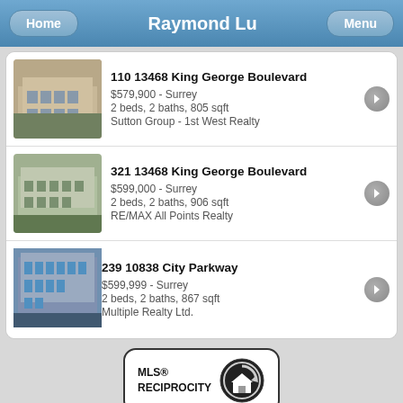Raymond Lu
110 13468 King George Boulevard
$579,900 - Surrey
2 beds, 2 baths, 805 sqft
Sutton Group - 1st West Realty
321 13468 King George Boulevard
$599,000 - Surrey
2 beds, 2 baths, 906 sqft
RE/MAX All Points Realty
239 10838 City Parkway
$599,999 - Surrey
2 beds, 2 baths, 867 sqft
Multiple Realty Ltd.
[Figure (logo): MLS Reciprocity logo with house icon]
Disclaimer: Listing data is based in whole or in part on data generated by the Real Estate Board of Greater Vancouver and Fraser Valley Real Estate Board which assumes no responsibility for its accuracy.